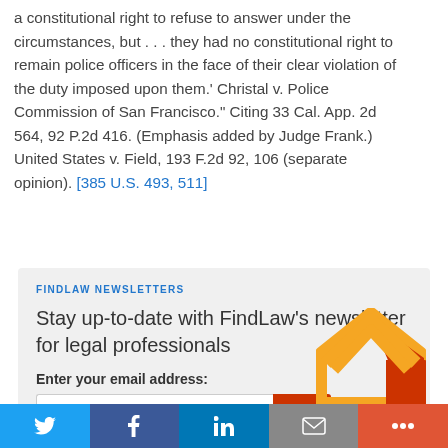a constitutional right to refuse to answer under the circumstances, but . . . they had no constitutional right to remain police officers in the face of their clear violation of the duty imposed upon them.' Christal v. Police Commission of San Francisco." Citing 33 Cal. App. 2d 564, 92 P.2d 416. (Emphasis added by Judge Frank.) United States v. Field, 193 F.2d 92, 106 (separate opinion). [385 U.S. 493, 511]
FINDLAW NEWSLETTERS
Stay up-to-date with FindLaw's newsletter for legal professionals
Enter your email address:
[Figure (infographic): FindLaw newsletter signup box with orange/red decorative house/arrow logo shape in the top right corner, an email input field, and a red submit button with an arrow icon.]
Twitter | Facebook | LinkedIn | Email | More